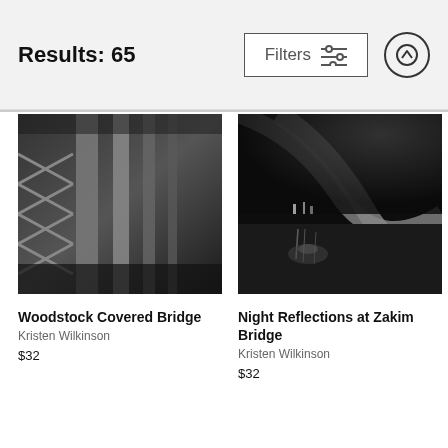Results: 65
Filters
[Figure (photo): Black and white close-up photograph of Woodstock Covered Bridge structural beams and lattice work]
Woodstock Covered Bridge
Kristen Wilkinson
$32
[Figure (photo): Black and white night photograph of Zakim Bridge with reflections on water, city lights visible in background]
Night Reflections at Zakim Bridge
Kristen Wilkinson
$32